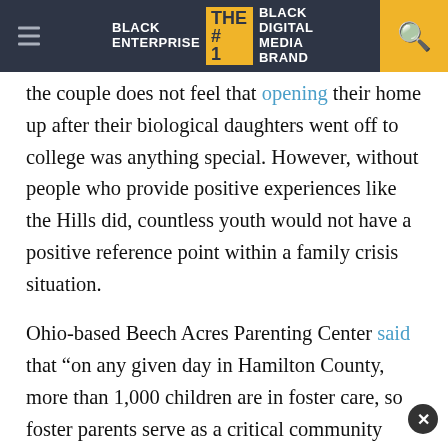BLACK ENTERPRISE THE #1 BLACK DIGITAL MEDIA BRAND
the couple does not feel that opening their home up after their biological daughters went off to college was anything special. However, without people who provide positive experiences like the Hills did, countless youth would not have a positive reference point within a family crisis situation.
Ohio-based Beech Acres Parenting Center said that “on any given day in Hamilton County, more than 1,000 children are in foster care, so foster parents serve as a critical community resource.”